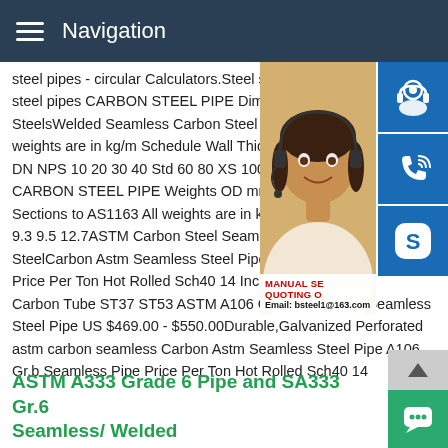Navigation
steel pipes - circular Calculators.Steel sheets steel pipes CARBON STEEL PIPE Dimensions SteelsWelded Seamless Carbon Steel Pipe weights are in kg/m Schedule Wall Thickness DN NPS 10 20 30 40 Std 60 80 XS 100 120 CARBON STEEL PIPE Weights OD mm Sections to AS1163 All weights are in kg/m 9.3 9.5 12.7ASTM Carbon Steel Seamless SteelCarbon Astm Seamless Steel Pipe A Price Per Ton Hot Rolled Sch40 14 Inch Tube Carbon Tube ST37 ST53 ASTM A106 GR.B Thick Wall Seamless Steel Pipe US $469.00 - $550.00Durable,Galvanized Perforated astm carbon seamless Carbon Astm Seamless Steel Pipe A106 Gr.b Seamless Pipe Price Per Ton Hot Rolled Sch40 14
[Figure (photo): Woman with headset - customer service representative, photo on right side with blue icon buttons for support, phone, and Skype. Overlay shows MANUAL SERVICE QUOTING and Email: bsteel1@163.com]
ASTM A333 Grade 6 Pipe and SA333 Gr.6 Seamless/ Welded